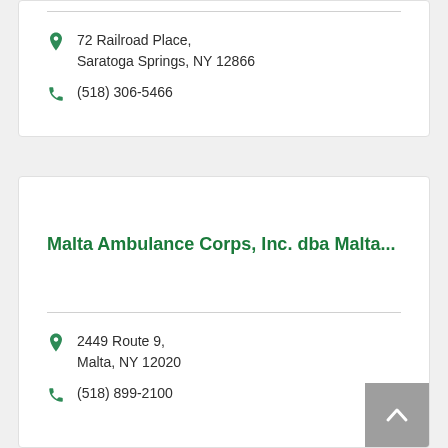72 Railroad Place, Saratoga Springs, NY 12866
(518) 306-5466
Malta Ambulance Corps, Inc. dba Malta...
2449 Route 9, Malta, NY 12020
(518) 899-2100